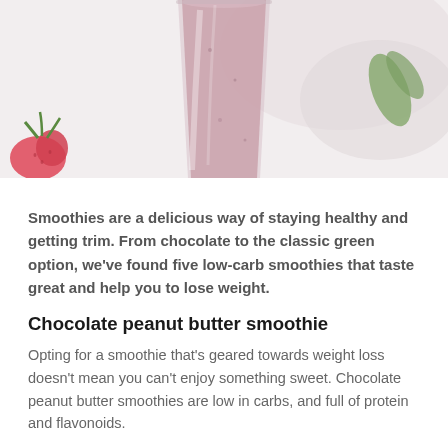[Figure (photo): Close-up photograph of a pink/berry smoothie in a tall glass, with strawberries and green leaves visible in the background on a light surface.]
Smoothies are a delicious way of staying healthy and getting trim. From chocolate to the classic green option, we've found five low-carb smoothies that taste great and help you to lose weight.
Chocolate peanut butter smoothie
Opting for a smoothie that's geared towards weight loss doesn't mean you can't enjoy something sweet. Chocolate peanut butter smoothies are low in carbs, and full of protein and flavonoids.
To keep the calories of your chocolate-based smoothie as low